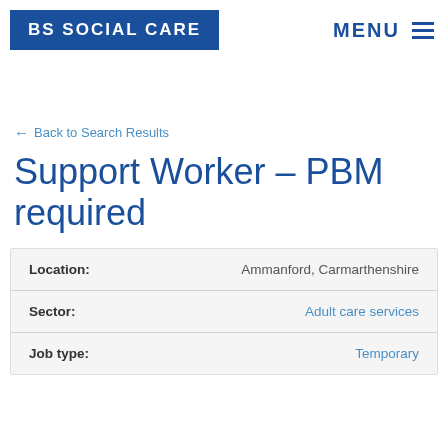BS SOCIAL CARE | MENU
← Back to Search Results
Support Worker – PBM required
| Field | Value |
| --- | --- |
| Location: | Ammanford, Carmarthenshire |
| Sector: | Adult care services |
| Job type: | Temporary |